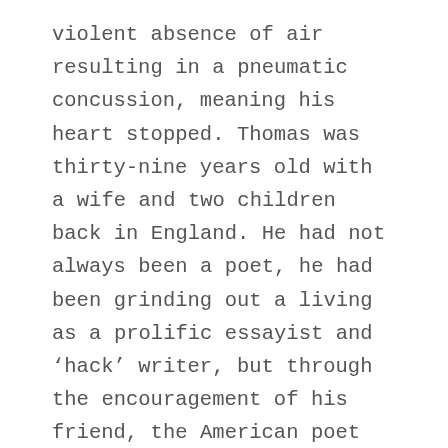violent absence of air resulting in a pneumatic concussion, meaning his heart stopped.  Thomas was thirty-nine years old with a wife and two children back in England.  He had not always been a poet, he had been grinding out a living as a prolific essayist and 'hack' writer, but through the encouragement of his friend, the American poet Robert Frost he finally began to write poems which reflected his love of nature, many written just before and during the war.  When war broke out in 1914 he was not obliged to serve, he was thirty-six with a young family, but felt increasingly compelled to volunteer.  Not moved by a sense of nationalism which he found at times shallow and pompous, it was his passion for the English landscape which helped finally to set his course.  A lifelong enthusiastic walker, Thomas once replied to being